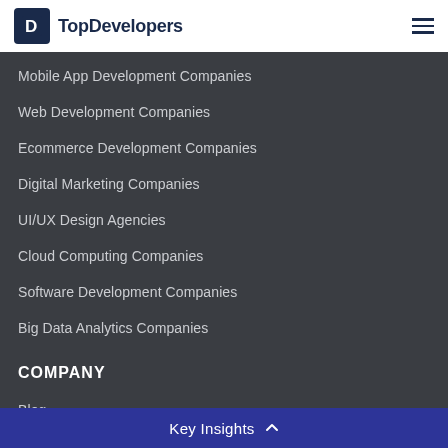TopDevelopers
Mobile App Development Companies
Web Development Companies
Ecommerce Development Companies
Digital Marketing Companies
UI/UX Design Agencies
Cloud Computing Companies
Software Development Companies
Big Data Analytics Companies
COMPANY
Blog
Press Releases
...
Key Insights